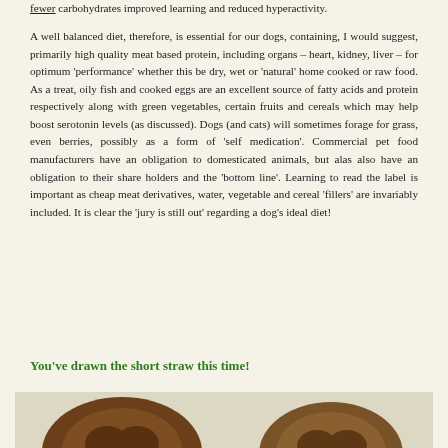fewer carbohydrates improved learning and reduced hyperactivity.
A well balanced diet, therefore, is essential for our dogs, containing, I would suggest, primarily high quality meat based protein, including organs – heart, kidney, liver – for optimum ‘performance’ whether this be dry, wet or ‘natural’ home cooked or raw food. As a treat, oily fish and cooked eggs are an excellent source of fatty acids and protein respectively along with green vegetables, certain fruits and cereals which may help boost serotonin levels (as discussed). Dogs (and cats) will sometimes forage for grass, even berries, possibly as a form of ‘self medication’. Commercial pet food manufacturers have an obligation to domesticated animals, but alas also have an obligation to their share holders and the ‘bottom line’. Learning to read the label is important as cheap meat derivatives, water, vegetable and cereal ‘fillers’ are invariably included. It is clear the ‘jury is still out’ regarding a dog’s ideal diet!
You’ve drawn the short straw this time!
[Figure (photo): Two dogs photographed from above showing the tops of their heads, on a light beige background.]